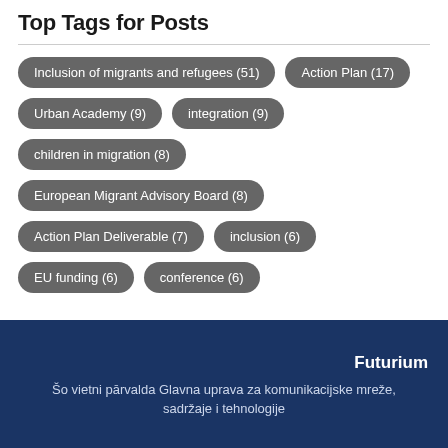Top Tags for Posts
Inclusion of migrants and refugees (51)
Action Plan (17)
Urban Academy (9)
integration (9)
children in migration (8)
European Migrant Advisory Board (8)
Action Plan Deliverable (7)
inclusion (6)
EU funding (6)
conference (6)
Futurium
Šo vietni pārvalda Glavna uprava za komunikacijske mreže, sadržaje i tehnologije